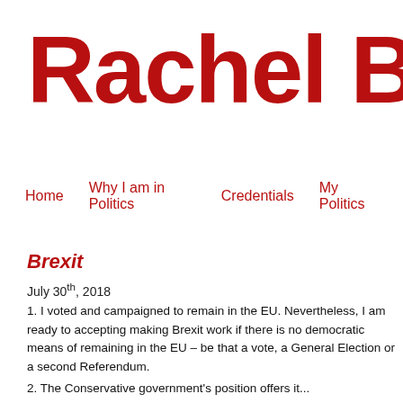Rachel Bu
Home   Why I am in Politics   Credentials   My Politics
Brexit
July 30th, 2018
1. I voted and campaigned to remain in the EU. Nevertheless, I am ready to accept making Brexit work if there is no democratic means of remaining in the EU — be that a vote, a General Election or a second Referendum.
2. The Conservative government's position offers...